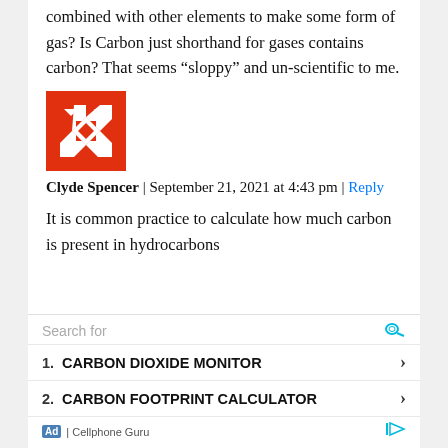combined with other elements to make some form of gas? Is Carbon just shorthand for gases contains carbon? That seems “sloppy” and un-scientific to me.
[Figure (logo): Red geometric logo with cross/diamond shapes, resembling a compass rose pattern]
Clyde Spencer | September 21, 2021 at 4:43 pm | Reply
It is common practice to calculate how much carbon is present in hydrocarbons
Search for
1. CARBON DIOXIDE MONITOR
2. CARBON FOOTPRINT CALCULATOR
Ad | Cellphone Guru